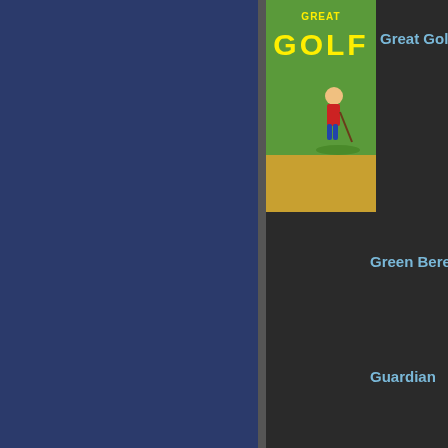[Figure (screenshot): Left navigation panel with dark blue/navy background, part of a game listing website]
[Figure (photo): Great Golf NES game cover art showing golfer on green course with yellow GOLF text]
Great Golf (
Green Bere
Guardian
[Figure (photo): Gumshoe NES game box art showing detective character with orange balloon on teal background]
Gumshoe
Gyrodine
Heartland
Helikopter 1